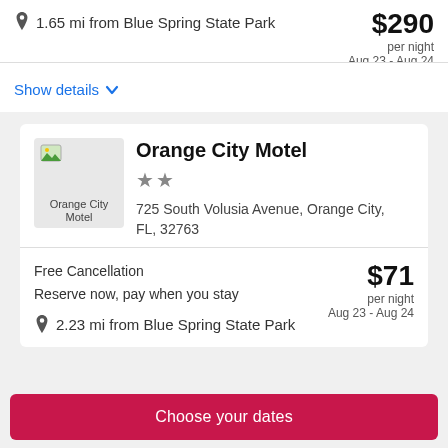1.65 mi from Blue Spring State Park
$290 per night Aug 23 - Aug 24
Show details
[Figure (photo): Orange City Motel hotel image placeholder]
Orange City Motel
★★ 725 South Volusia Avenue, Orange City, FL, 32763
Free Cancellation
Reserve now, pay when you stay
$71 per night Aug 23 - Aug 24
2.23 mi from Blue Spring State Park
Choose your dates